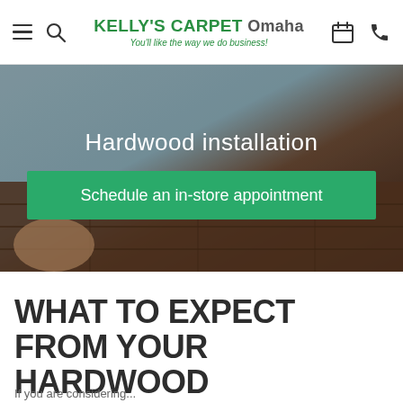KELLY'S CARPET Omaha — You'll like the way we do business!
[Figure (photo): Hero banner showing a hand placing a dark hardwood floor plank, with gray background, overlaid with text 'Hardwood installation' and a green CTA button 'Schedule an in-store appointment']
WHAT TO EXPECT FROM YOUR HARDWOOD INSTALLATION
If you are considering...